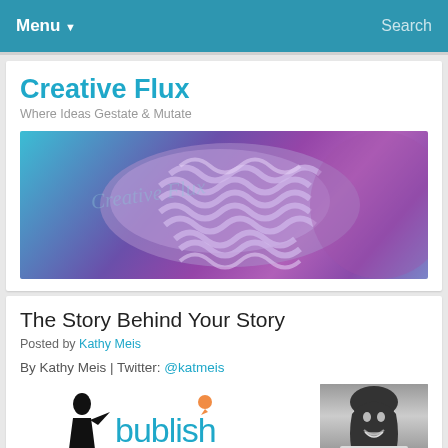Menu ▼   Search
Creative Flux
Where Ideas Gestate & Mutate
[Figure (photo): Banner image with purple/blue coral or brain-like organic structure on a teal and purple gradient background, with faint italic text overlay reading 'Creative Flux']
The Story Behind Your Story
Posted by Kathy Meis
By Kathy Meis | Twitter: @katmeis
[Figure (logo): Bublish logo in teal with a chat bubble icon — a silhouette figure on left and the word 'bublish' in teal lowercase letters]
[Figure (photo): Black and white photo of a smiling woman with dark hair]